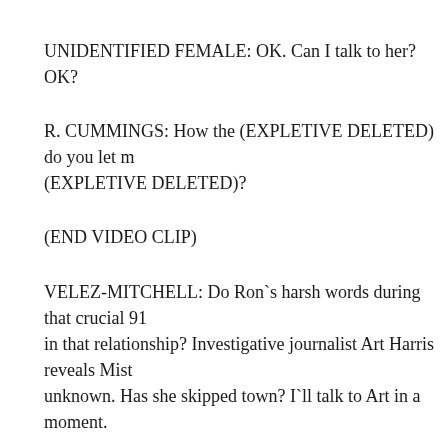UNIDENTIFIED FEMALE: OK. Can I talk to her? OK?
R. CUMMINGS: How the (EXPLETIVE DELETED) do you let m (EXPLETIVE DELETED)?
(END VIDEO CLIP)
VELEZ-MITCHELL: Do Ron`s harsh words during that crucial 91 in that relationship? Investigative journalist Art Harris reveals Mist unknown. Has she skipped town? I`ll talk to Art in a moment.
All this as phone records reveal Haleigh`s dad tried to call Misty 20 Haleigh disappeared. If she was at home, why didn`t she pick up?
Tonight`s big issue, keeping dark secrets. If Misty Croslin Cummin